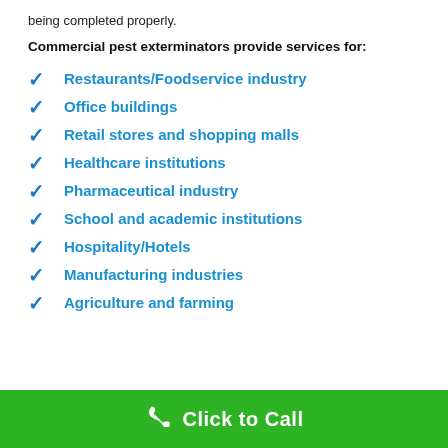being completed properly.
Commercial pest exterminators provide services for:
Restaurants/Foodservice industry
Office buildings
Retail stores and shopping malls
Healthcare institutions
Pharmaceutical industry
School and academic institutions
Hospitality/Hotels
Manufacturing industries
Agriculture and farming
Click to Call